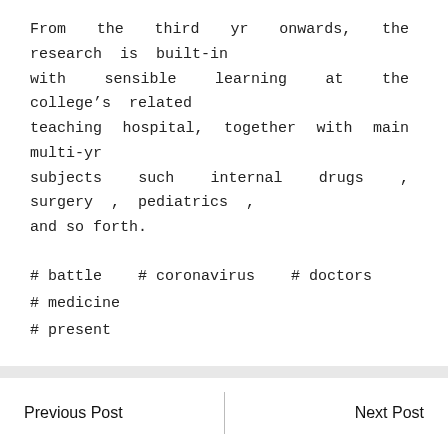From the third yr onwards, the research is built-in with sensible learning at the college's related teaching hospital, together with main multi-yr subjects such internal drugs , surgery , pediatrics , and so forth.
# battle   # coronavirus   # doctors   # medicine
# present
Previous Post
Next Post
Type here to search